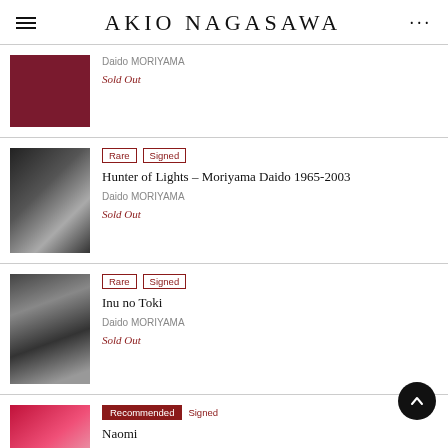AKIO NAGASAWA
Daido MORIYAMA | Sold Out
Rare | Signed | Hunter of Lights – Moriyama Daido 1965-2003 | Daido MORIYAMA | Sold Out
Rare | Signed | Inu no Toki | Daido MORIYAMA | Sold Out
Recommended | Signed | Naomi | Daido MORIYAMA | $80.58